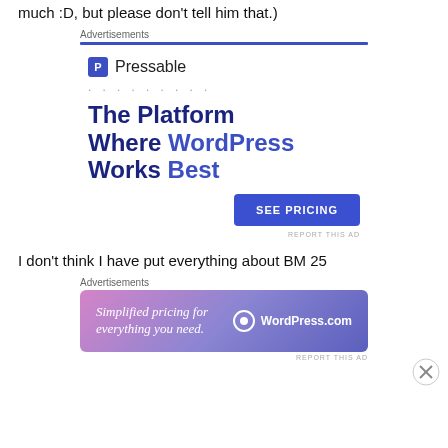much :D, but please don't tell him that.)
Advertisements
[Figure (other): Pressable advertisement banner with logo, headline 'The Platform Where WordPress Works Best', and 'SEE PRICING' button]
I don't think I have put everything about BM 25
Advertisements
[Figure (other): WordPress.com banner ad: 'Simplified pricing for everything you need.' with WordPress.com logo on gradient background]